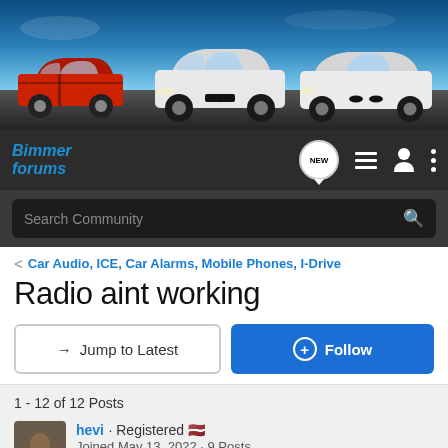[Figure (photo): Banner image showing three BMW cars (one red classic, two white modern models) on a road with a dark sky background]
[Figure (logo): Bimmer Forums logo with navigation icons including NEW speech bubble, list icon, person icon, and three-dot menu]
Search Community
< Car Audio, ICE, Car Alarms, Mobile Phones, I-Drive
Radio aint working
→ Jump to Latest
+ Follow
1 - 12 of 12 Posts
hevi · Registered 🇱🇻
Joined May 13, 2022 · 9 Posts